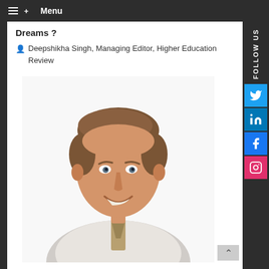Menu
Dreams ?
Deepshikha Singh, Managing Editor, Higher Education Review
[Figure (photo): Professional headshot of a middle-aged man with brown hair, wearing a light-colored dress shirt and patterned tie, smiling against a white background.]
FOLLOW US